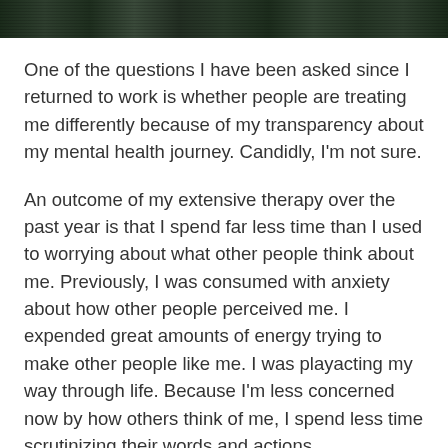[Figure (photo): Dark green foliage photo strip at the top of the page]
One of the questions I have been asked since I returned to work is whether people are treating me differently because of my transparency about my mental health journey. Candidly, I'm not sure.
An outcome of my extensive therapy over the past year is that I spend far less time than I used to worrying about what other people think about me. Previously, I was consumed with anxiety about how other people perceived me. I expended great amounts of energy trying to make other people like me. I was playacting my way through life. Because I'm less concerned now by how others think of me, I spend less time scrutinizing their words and actions.
A dear friend once suggested that I think of this